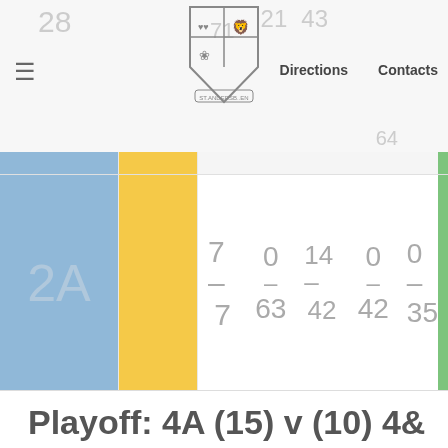≡  Directions  Contacts
[Figure (table-as-image): Sports bracket grid with colored cells (blue and yellow) showing match scores: 2A label in blue cell, scores 7-7, 0/63, 14-42, 0/42, 0-35]
Playoff: 4A (15) v (10) 4&
FINAL: 3A (13) v (17) 4A